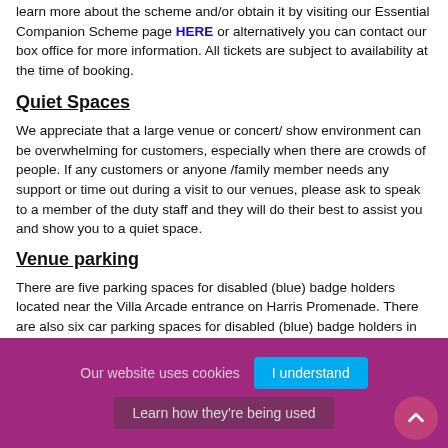learn more about the scheme and/or obtain it by visiting our Essential Companion Scheme page HERE or alternatively you can contact our box office for more information. All tickets are subject to availability at the time of booking.
Quiet Spaces
We appreciate that a large venue or concert/ show environment can be overwhelming for customers, especially when there are crowds of people. If any customers or anyone /family member needs any support or time out during a visit to our venues, please ask to speak to a member of the duty staff and they will do their best to assist you and show you to a quiet space.
Venue parking
There are five parking spaces for disabled (blue) badge holders located near the Villa Arcade entrance on Harris Promenade. There are also six car parking spaces for disabled (blue) badge holders in
Our website uses cookies   I understand   Learn how they're being used